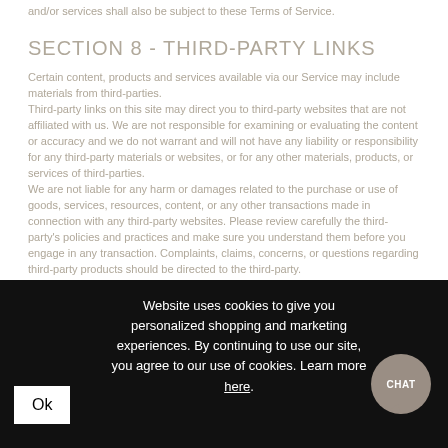and/or services shall also be subject to these Terms of Service.
SECTION 8 - THIRD-PARTY LINKS
Certain content, products and services available via our Service may include materials from third-parties.
Third-party links on this site may direct you to third-party websites that are not affiliated with us. We are not responsible for examining or evaluating the content or accuracy and we do not warrant and will not have any liability or responsibility for any third-party materials or websites, or for any other materials, products, or services of third-parties.
We are not liable for any harm or damages related to the purchase or use of goods, services, resources, content, or any other transactions made in connection with any third-party websites. Please review carefully the third-party's policies and practices and make sure you understand them before you engage in any transaction. Complaints, claims, concerns, or questions regarding third-party products should be directed to the third-party.
SECTION 9 - USER COMMENTS, FEEDBACK
Website uses cookies to give you personalized shopping and marketing experiences. By continuing to use our site, you agree to our use of cookies. Learn more here.